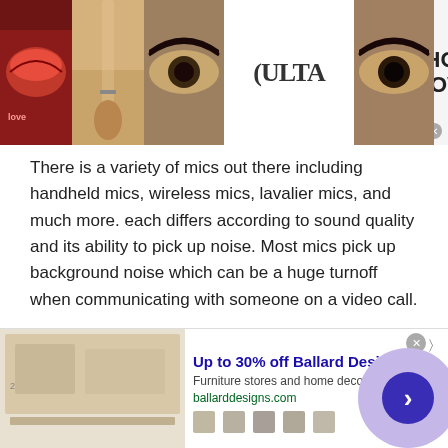[Figure (photo): Top advertisement banner showing makeup photos (lips, brush, eye) and Ulta Beauty logo with 'SHOP NOW' text on the right]
There is a variety of mics out there including handheld mics, wireless mics, lavalier mics, and much more. each differs according to sound quality and its ability to pick up noise. Most mics pick up background noise which can be a huge turnoff when communicating with someone on a video call.
Lighting
In addition to a good quality camera for being seen clearly, you also need high quality lighting. Make sure you are
[Figure (screenshot): Bottom advertisement for Ballard Designs: 'Up to 30% off Ballard Designs', Furniture stores and home decor. It's Ballard!, ballarddesigns.com, with a purple circle arrow button on the right]